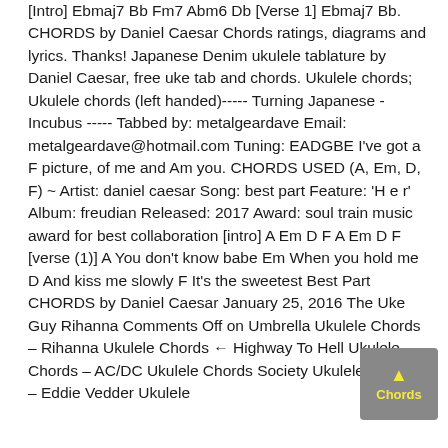[Intro] Ebmaj7 Bb Fm7 Abm6 Db [Verse 1] Ebmaj7 Bb. CHORDS by Daniel Caesar Chords ratings, diagrams and lyrics. Thanks! Japanese Denim ukulele tablature by Daniel Caesar, free uke tab and chords. Ukulele chords; Ukulele chords (left handed)----- Turning Japanese - Incubus ----- Tabbed by: metalgeardave Email: metalgeardave@hotmail.com Tuning: EADGBE I've got a F picture, of me and Am you. CHORDS USED (A, Em, D, F) ~ Artist: daniel caesar Song: best part Feature: 'H e r' Album: freudian Released: 2017 Award: soul train music award for best collaboration [intro] A Em D F A Em D F [verse (1)] A You don't know babe Em When you hold me D And kiss me slowly F It's the sweetest Best Part CHORDS by Daniel Caesar January 25, 2016 The Uke Guy Rihanna Comments Off on Umbrella Ukulele Chords – Rihanna Ukulele Chords ← Highway To Hell Ukulele Chords – AC/DC Ukulele Chords Society Ukulele Chords – Eddie Vedder Ukulele